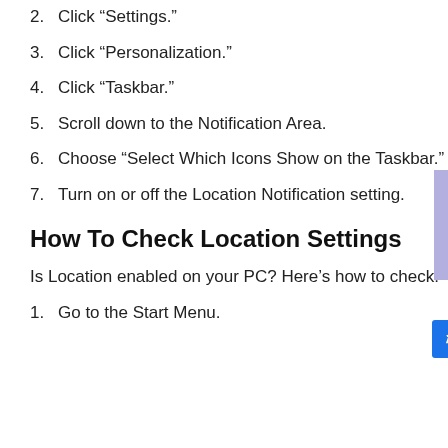2. Click “Settings.”
3. Click “Personalization.”
4. Click “Taskbar.”
5. Scroll down to the Notification Area.
6. Choose “Select Which Icons Show on the Taskbar.”
7. Turn on or off the Location Notification setting.
How To Check Location Settings
Is Location enabled on your PC? Here’s how to check:
1. Go to the Start Menu.